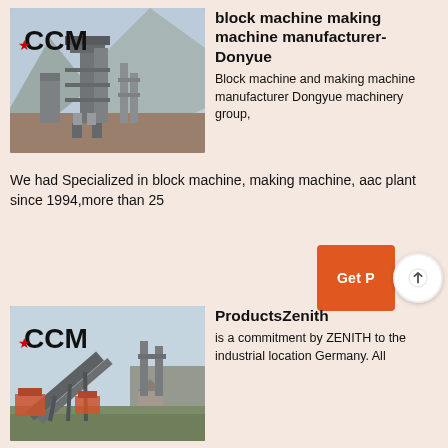[Figure (photo): Industrial machinery/plant with CCM logo in top-left corner, mountainous background, heavy equipment structure]
block machine making machine manufacturer-Donyue
Block machine and making machine manufacturer Dongyue machinery group, We had Specialized in block machine, making machine, aac plant since 1994,more than 25
Get P
[Figure (photo): Industrial conveyor/crushing plant with CCM logo, outdoor industrial setting]
ProductsZenith
is a commitment by ZENITH to the industrial location Germany. All